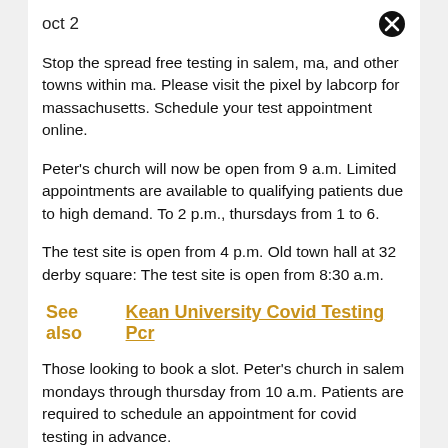oct 2
Stop the spread free testing in salem, ma, and other towns within ma. Please visit the pixel by labcorp for massachusetts. Schedule your test appointment online.
Peter's church will now be open from 9 a.m. Limited appointments are available to qualifying patients due to high demand. To 2 p.m., thursdays from 1 to 6.
The test site is open from 4 p.m. Old town hall at 32 derby square: The test site is open from 8:30 a.m.
See also  Kean University Covid Testing Pcr
Those looking to book a slot. Peter's church in salem mondays through thursday from 10 a.m. Patients are required to schedule an appointment for covid testing in advance.
The...